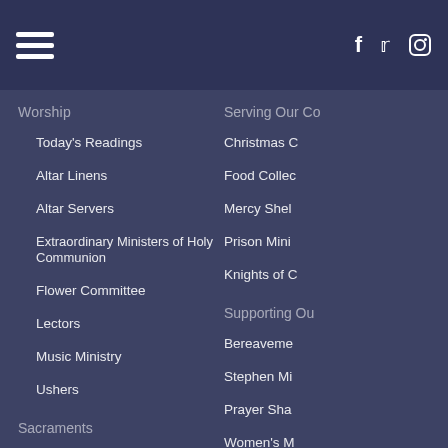Navigation header with hamburger menu and social icons (Facebook, Twitter, Instagram)
Worship
Today's Readings
Altar Linens
Altar Servers
Extraordinary Ministers of Holy Communion
Flower Committee
Lectors
Music Ministry
Ushers
Sacraments
Sacraments
Anointing of the Sick
Baptism
Confirmation
Holy Communion
Marriage
Office of Vocations
Serving Our Co…
Christmas C…
Food Collec…
Mercy Shel…
Prison Mini…
Knights of C…
Supporting Ou…
Bereaveme…
Stephen Mi…
Prayer Sha…
Women's M…